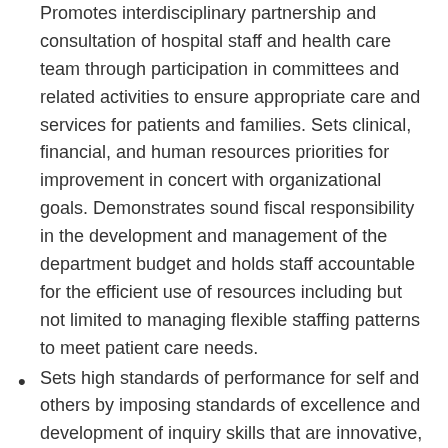Promotes interdisciplinary partnership and consultation of hospital staff and health care team through participation in committees and related activities to ensure appropriate care and services for patients and families. Sets clinical, financial, and human resources priorities for improvement in concert with organizational goals. Demonstrates sound fiscal responsibility in the development and management of the department budget and holds staff accountable for the efficient use of resources including but not limited to managing flexible staffing patterns to meet patient care needs.
Sets high standards of performance for self and others by imposing standards of excellence and development of inquiry skills that are innovative, optimistic, and supportive of professional growth. Creates developmental